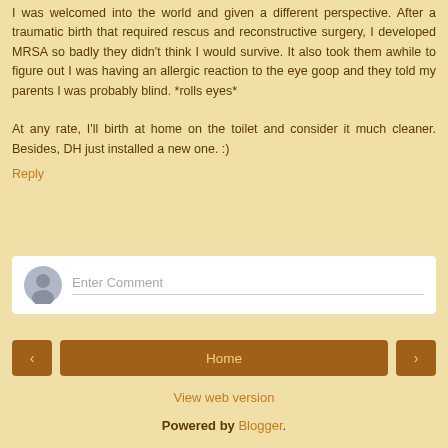I was welcomed into the world and given a different perspective. After a traumatic birth that required rescus and reconstructive surgery, I developed MRSA so badly they didn't think I would survive. It also took them awhile to figure out I was having an allergic reaction to the eye goop and they told my parents I was probably blind. *rolls eyes*

At any rate, I'll birth at home on the toilet and consider it much cleaner. Besides, DH just installed a new one. :)
Reply
[Figure (other): Comment input area with user avatar circle and 'Enter Comment' placeholder text field]
[Figure (other): Navigation bar with left arrow button, Home button, and right arrow button]
View web version
Powered by Blogger.